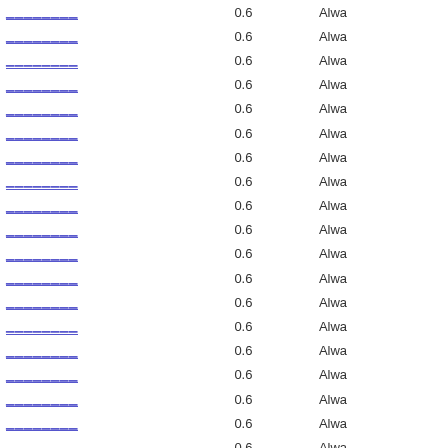| Link | Value | Status |
| --- | --- | --- |
| [redacted] | 0.6 | Alwa |
| [redacted] | 0.6 | Alwa |
| [redacted] | 0.6 | Alwa |
| [redacted] | 0.6 | Alwa |
| [redacted] | 0.6 | Alwa |
| [redacted] | 0.6 | Alwa |
| [redacted] | 0.6 | Alwa |
| [redacted] | 0.6 | Alwa |
| [redacted] | 0.6 | Alwa |
| [redacted] | 0.6 | Alwa |
| [redacted] | 0.6 | Alwa |
| [redacted] | 0.6 | Alwa |
| [redacted] | 0.6 | Alwa |
| [redacted] | 0.6 | Alwa |
| [redacted] | 0.6 | Alwa |
| [redacted] | 0.6 | Alwa |
| [redacted] | 0.6 | Alwa |
| [redacted] | 0.6 | Alwa |
| [redacted] | 0.6 | Alwa |
| [redacted] | 0.6 | Alwa |
| [redacted] | 0.6 | Alwa |
| [redacted] | 0.6 | Alwa |